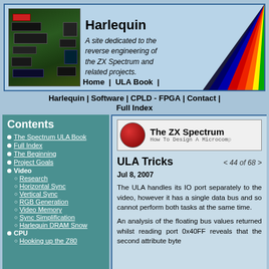[Figure (screenshot): Harlequin website header banner with PCB image on left, site title and description in center, rainbow diagonal stripes on right]
Harlequin
A site dedicated to the reverse engineering of the ZX Spectrum and related projects.
Home | ULA Book | Harlequin | Software | CPLD - FPGA | Contact | Full Index
Contents
The Spectrum ULA Book
Full Index
The Beginning
Project Goals
Video
Research
Horizontal Sync
Vertical Sync
RGB Generation
Video Memory
Sync Simplification
Harlequin DRAM Snow
CPU
Hooking up the Z80
[Figure (screenshot): The ZX Spectrum ULA Book banner - How To Design A Microcomputer]
ULA Tricks
< 44 of 68 >
Jul 8, 2007
The ULA handles its IO port separately to the video, however it has a single data bus and so cannot perform both tasks at the same time.
An analysis of the floating bus values returned whilst reading port 0x40FF reveals that the second attribute byte